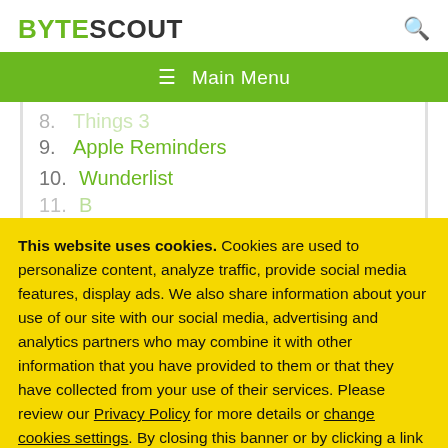BYTESCOUT
8. Things 3
9. Apple Reminders
10. Wunderlist
11. (partial, cut off)
This website uses cookies. Cookies are used to personalize content, analyze traffic, provide social media features, display ads. We also share information about your use of our site with our social media, advertising and analytics partners who may combine it with other information that you have provided to them or that they have collected from your use of their services. Please review our Privacy Policy for more details or change cookies settings. By closing this banner or by clicking a link or continuing to browse otherwise, you consent to our cookies.
OK